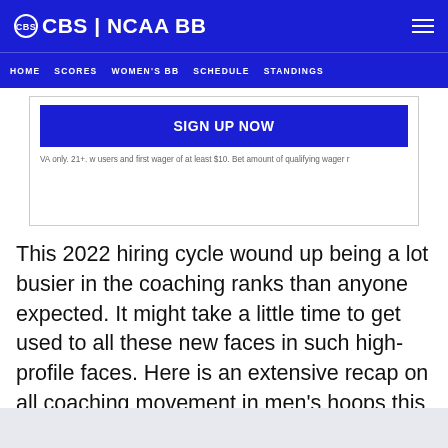CBS | NCAA BB
HOME  SCORES  WOMEN'S BB  SCHEDULE  STANDINGS
[Figure (screenshot): Advertisement box with 'SIGN UP NOW' blue button and disclaimer text: 'VA only. 21+. w users and first wager of at least $10. Bet amount of qualifying wager r']
This 2022 hiring cycle wound up being a lot busier in the coaching ranks than anyone expected. It might take a little time to get used to all these new faces in such high-profile faces. Here is an extensive recap on all coaching movement in men's hoops this spring.